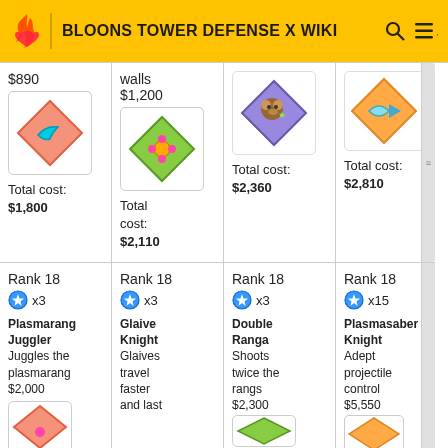BLOONS TOWER DEFENSE X WIKI
| Col1 | Col2 | Col3 | Col4 |
| --- | --- | --- | --- |
| $890 | Total cost: $1,800 | walls $1,200 | Total cost: $2,110 | Total cost: $2,360 | Total cost: $2,810 |
| Rank 18 x3 | Plasmarang Juggler | Juggles the plasmarang | $2,000 | Rank 18 x3 | Glaive Knight | Glaives travel faster and last |  | Rank 18 x3 | Double Ranga | Shoots twice the rangs | $2,300 | Rank 18 x15 | Plasmasaber Knight | Adept projectile control | $5,550 |